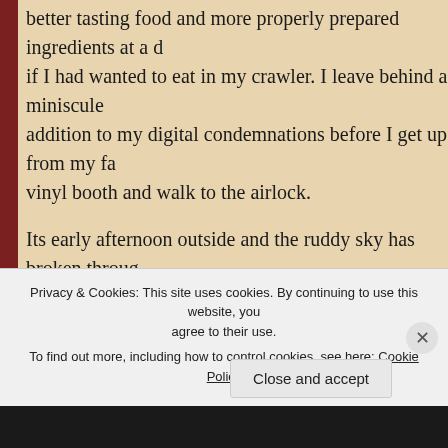better tasting food and more properly prepared ingredients at a diner if I had wanted to eat in my crawler. I leave behind a miniscule addition to my digital condemnations before I get up from my faux vinyl booth and walk to the airlock.
Its early afternoon outside and the ruddy sky has broken through the gloom to reveal yet another beautiful Martian day. The atmosphere almost clear spare a frame of pink clouds, the occasional passing spacecraft, and a small, light colored blip in the center of the sky must have been one of this planet's miniscule satellites.
“Nomi,” I say as I raise her main imager to the air, “Is that Phob Deimos?”
Without even a moment of computation, she responds “Phobos.
Privacy & Cookies: This site uses cookies. By continuing to use this website, you agree to their use.
To find out more, including how to control cookies, see here: Cookie Policy
Close and accept